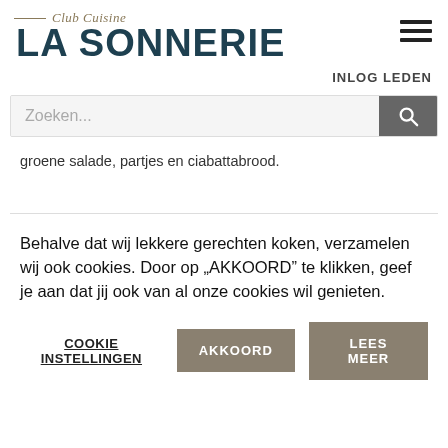Club Cuisine LA SONNERIE
INLOG LEDEN
Zoeken...
groene salade, partjes en ciabattabrood.
Behalve dat wij lekkere gerechten koken, verzamelen wij ook cookies. Door op „AKKOORD” te klikken, geef je aan dat jij ook van al onze cookies wil genieten.
COOKIE INSTELLINGEN
AKKOORD
LEES MEER